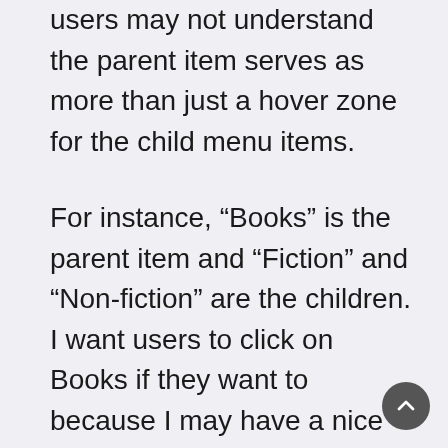users may not understand the parent item serves as more than just a hover zone for the child menu items.
For instance, “Books” is the parent item and “Fiction” and “Non-fiction” are the children. I want users to click on Books if they want to because I may have a nice promotional layout of all the books on my site instead of a category listing for fiction/non-fiction for my users wanting to home in on a